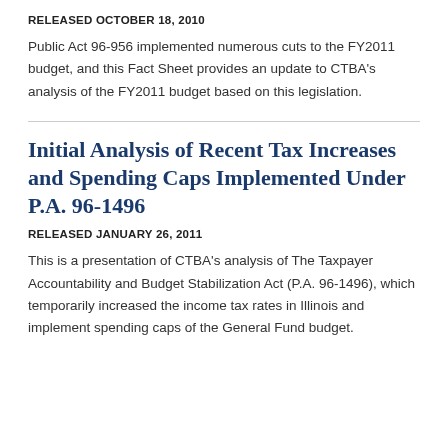RELEASED OCTOBER 18, 2010
Public Act 96-956 implemented numerous cuts to the FY2011 budget, and this Fact Sheet provides an update to CTBA's analysis of the FY2011 budget based on this legislation.
Initial Analysis of Recent Tax Increases and Spending Caps Implemented Under P.A. 96-1496
RELEASED JANUARY 26, 2011
This is a presentation of CTBA's analysis of The Taxpayer Accountability and Budget Stabilization Act (P.A. 96-1496), which temporarily increased the income tax rates in Illinois and implement spending caps of the General Fund budget.